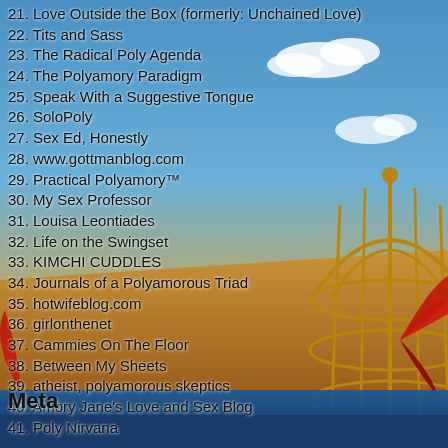[Figure (illustration): Surrealist painting background showing a birdcage on a checkered platform with red butterflies, blue sky with clouds and orange/tan desert landscape]
21. Love Outside the Box (formerly: Unchained Love)
22. Tits and Sass
23. The Radical Poly Agenda
24. The Polyamory Paradigm
25. Speak With a Suggestive Tongue
26. SoloPoly
27. Sex Ed, Honestly
28. www.gottmanblog.com
29. Practical Polyamory™
30. My Sex Professor
31. Louisa Leontiades
32. Life on the Swingset
33. KIMCHI CUDDLES
34. Journals of a Polyamorous Triad
35. hotwifeblog.com
36. girlonthenet
37. Cammies On The Floor
38. Between My Sheets
39. atheist, polyamorous skeptics
40. Amory Jane's Love and Sex Blog
41. Poly Nirvana
Meta